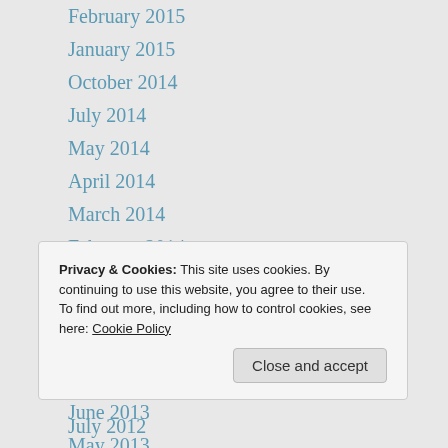February 2015
January 2015
October 2014
July 2014
May 2014
April 2014
March 2014
February 2014
January 2014
December 2013
August 2013
July 2013
June 2013
May 2013
Privacy & Cookies: This site uses cookies. By continuing to use this website, you agree to their use.
To find out more, including how to control cookies, see here: Cookie Policy
July 2012